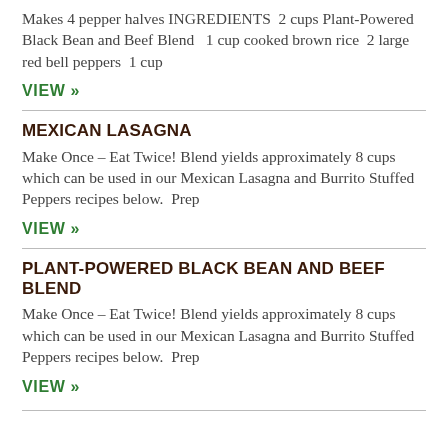Makes 4 pepper halves INGREDIENTS  2 cups Plant-Powered Black Bean and Beef Blend   1 cup cooked brown rice  2 large red bell peppers  1 cup
VIEW »
MEXICAN LASAGNA
Make Once – Eat Twice! Blend yields approximately 8 cups which can be used in our Mexican Lasagna and Burrito Stuffed Peppers recipes below.  Prep
VIEW »
PLANT-POWERED BLACK BEAN AND BEEF BLEND
Make Once – Eat Twice! Blend yields approximately 8 cups which can be used in our Mexican Lasagna and Burrito Stuffed Peppers recipes below.  Prep
VIEW »